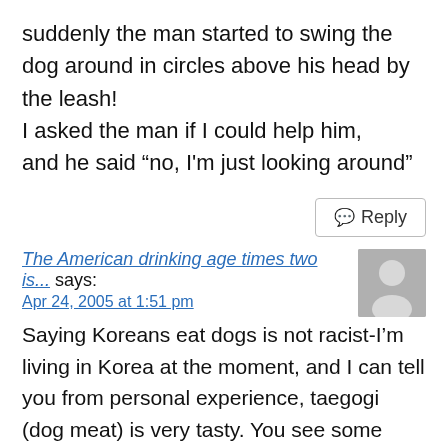suddenly the man started to swing the dog around in circles above his head by the leash!
I asked the man if I could help him,
and he said “no, I'm just looking around”
Reply
The American drinking age times two is... says:
Apr 24, 2005 at 1:51 pm
Saying Koreans eat dogs is not racist-I’m living in Korea at the moment, and I can tell you from personal experience, taegogi (dog meat) is very tasty. You see some breeds of dogs are for meat and some are for keeping as pets-noone eats their pets. 8/ Besides, what is the difference between what the Koreans do and what we do-i.e. eat fish and keep a goldfish in an aquarium or eat